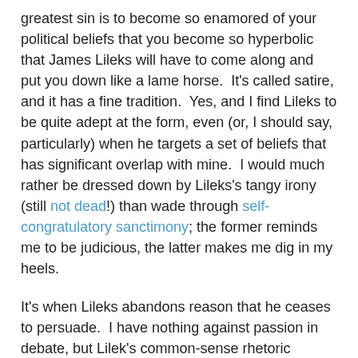greatest sin is to become so enamored of your political beliefs that you become so hyperbolic that James Lileks will have to come along and put you down like a lame horse.  It's called satire, and it has a fine tradition.  Yes, and I find Lileks to be quite adept at the form, even (or, I should say, particularly) when he targets a set of beliefs that has significant overlap with mine.  I would much rather be dressed down by Lileks's tangy irony (still not dead!) than wade through self-congratulatory sanctimony; the former reminds me to be judicious, the latter makes me dig in my heels.
It's when Lileks abandons reason that he ceases to persuade.  I have nothing against passion in debate, but Lilek's common-sense rhetoric breaks down when subjected to the heat of his prejudices.  In the stable of hobbyhorses that is the blogosphere, indulging in slippery logic is mostly harmless.  When called into the service of rationalizing a national scandal, however, it deserves greater scrutiny.
Look, we were told that Iraq had weapons of mass destruction. Saddam was a threat. Paul Wolfowitz rescued